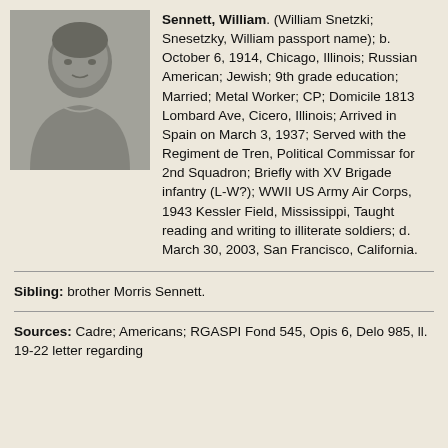[Figure (photo): Black and white portrait photograph of William Sennett]
Sennett, William. (William Snetzki; Snesetzky, William passport name); b. October 6, 1914, Chicago, Illinois; Russian American; Jewish; 9th grade education; Married; Metal Worker; CP; Domicile 1813 Lombard Ave, Cicero, Illinois; Arrived in Spain on March 3, 1937; Served with the Regiment de Tren, Political Commissar for 2nd Squadron; Briefly with XV Brigade infantry (L-W?); WWII US Army Air Corps, 1943 Kessler Field, Mississippi, Taught reading and writing to illiterate soldiers; d. March 30, 2003, San Francisco, California.
Sibling: brother Morris Sennett.
Sources: Cadre; Americans; RGASPI Fond 545, Opis 6, Delo 985, ll. 19-22 letter regarding